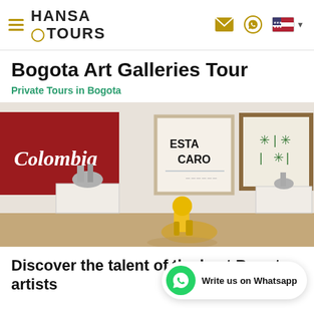HANSA TOURS
Bogota Art Galleries Tour
Private Tours in Bogota
[Figure (photo): Interior of an art gallery showing sculptures on white pedestals and paintings on white walls, including a red painting with 'Colombia' text and a framed print reading 'ESTA CARO'. A yellow robotic figure sculpture lies on the floor in the foreground.]
Discover the talent of the best Bogota artists